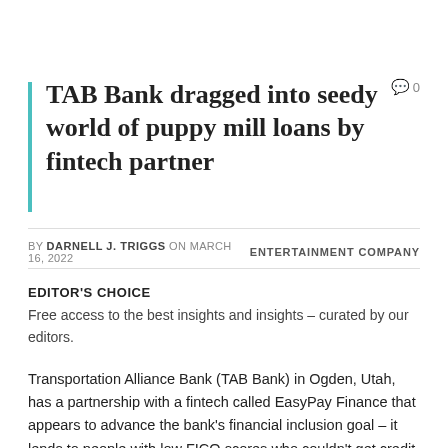TAB Bank dragged into seedy world of puppy mill loans by fintech partner
0
BY DARNELL J. TRIGGS ON MARCH 16, 2022   ENTERTAINMENT COMPANY
EDITOR'S CHOICE
Free access to the best insights and insights – curated by our editors.
Transportation Alliance Bank (TAB Bank) in Ogden, Utah, has a partnership with a fintech called EasyPay Finance that appears to advance the bank's financial inclusion goal – it lends to people with low FICO scores who couldn't get credit elsewhere – but the